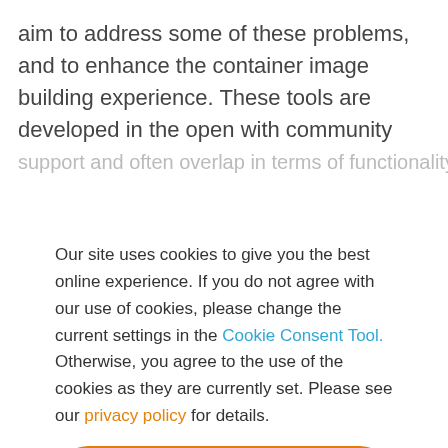aim to address some of these problems, and to enhance the container image building experience. These tools are developed in the open with community support and often overlap in terms of functionality. In
Our site uses cookies to give you the best online experience. If you do not agree with our use of cookies, please change the current settings in the Cookie Consent Tool. Otherwise, you agree to the use of the cookies as they are currently set. Please see our privacy policy for details.
Accept all
Decline all